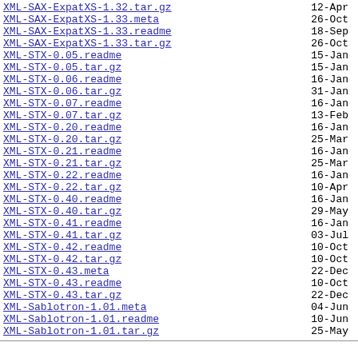XML-SAX-ExpatXS-1.32.tar.gz  12-Apr
XML-SAX-ExpatXS-1.33.meta  26-Oct
XML-SAX-ExpatXS-1.33.readme  18-Sep
XML-SAX-ExpatXS-1.33.tar.gz  26-Oct
XML-STX-0.05.readme  15-Jan
XML-STX-0.05.tar.gz  15-Jan
XML-STX-0.06.readme  16-Jan
XML-STX-0.06.tar.gz  31-Jan
XML-STX-0.07.readme  16-Jan
XML-STX-0.07.tar.gz  13-Feb
XML-STX-0.20.readme  16-Jan
XML-STX-0.20.tar.gz  25-Mar
XML-STX-0.21.readme  16-Jan
XML-STX-0.21.tar.gz  25-Mar
XML-STX-0.22.readme  16-Jan
XML-STX-0.22.tar.gz  10-Apr
XML-STX-0.40.readme  16-Jan
XML-STX-0.40.tar.gz  29-May
XML-STX-0.41.readme  16-Jan
XML-STX-0.41.tar.gz  03-Jul
XML-STX-0.42.readme  10-Oct
XML-STX-0.42.tar.gz  10-Oct
XML-STX-0.43.meta  22-Dec
XML-STX-0.43.readme  10-Oct
XML-STX-0.43.tar.gz  22-Dec
XML-Sablotron-1.01.meta  04-Jun
XML-Sablotron-1.01.readme  10-Jun
XML-Sablotron-1.01.tar.gz  25-May